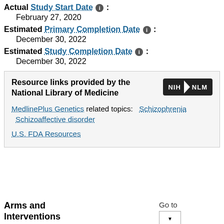Actual Study Start Date ℹ️ : February 27, 2020
Estimated Primary Completion Date ℹ️ : December 30, 2022
Estimated Study Completion Date ℹ️ : December 30, 2022
Resource links provided by the National Library of Medicine
MedlinePlus Genetics related topics: Schizophrenia  Schizoaffective disorder
U.S. FDA Resources
Arms and Interventions
Go to